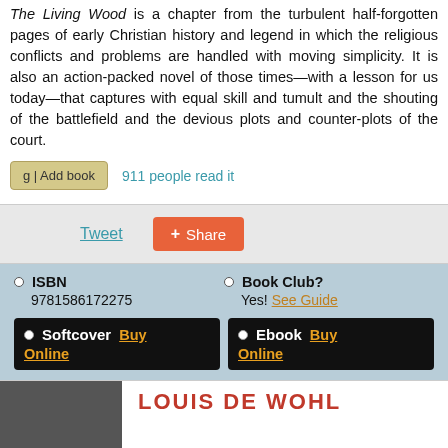The Living Wood is a chapter from the turbulent half-forgotten pages of early Christian history and legend in which the religious conflicts and problems are handled with moving simplicity. It is also an action-packed novel of those times—with a lesson for us today—that captures with equal skill and tumult and the shouting of the battlefield and the devious plots and counter-plots of the court.
911 people read it
Tweet
Share
ISBN
9781586172275
Book Club?
Yes! See Guide
Softcover Buy Online
Ebook Buy Online
LOUIS DE WOHL